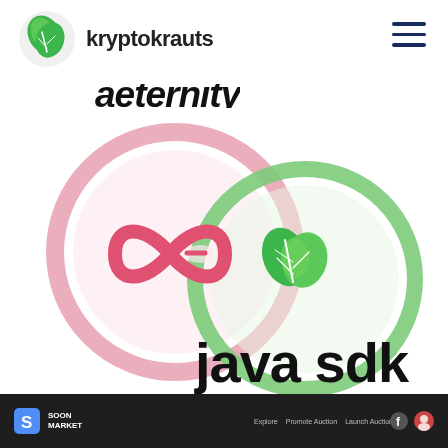kryptokrauts
aeternity java sdk
[Figure (logo): Overlapping circle logos: Aeternity (pink circle with infinity/ae logo) and kryptokrauts (green circle with leaf logo), with text 'aeternity' partially cut off at top and 'java sdk' below in bold black]
SOON MARKET | Explore  Promote Auction  Launch Auction